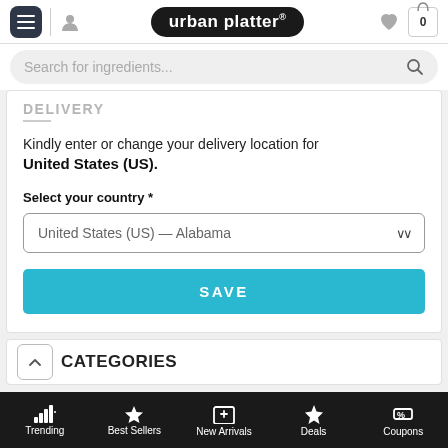[Figure (screenshot): Urban Platter e-commerce app header with hamburger menu, user icon, logo pill, heart icon, and cart icon showing 0]
Search for ingredients...
DELIVERY
Kindly enter or change your delivery location for United States (US).
Select your country *
United States (US) — Alabama
SAVE
CATEGORIES
Trending  Best Sellers  New Arrivals  Deals  Coupons